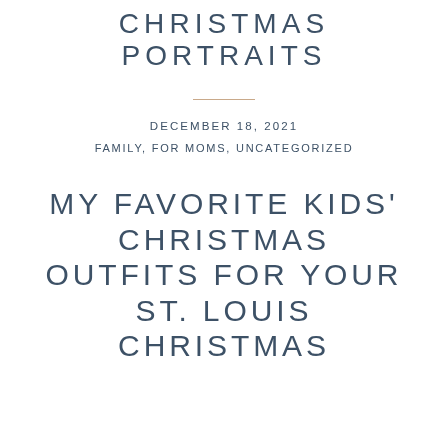CHRISTMAS PORTRAITS
DECEMBER 18, 2021
FAMILY, FOR MOMS, UNCATEGORIZED
MY FAVORITE KIDS' CHRISTMAS OUTFITS FOR YOUR ST. LOUIS CHRISTMAS